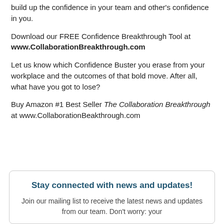build up the confidence in your team and other's confidence in you.
Download our FREE Confidence Breakthrough Tool at www.CollaborationBreakthrough.com
Let us know which Confidence Buster you erase from your workplace and the outcomes of that bold move. After all, what have you got to lose?
Buy Amazon #1 Best Seller The Collaboration Breakthrough at www.CollaborationBeakthrough.com
Stay connected with news and updates!
Join our mailing list to receive the latest news and updates from our team. Don't worry: your